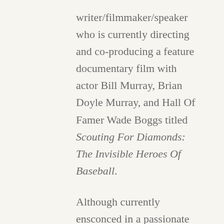writer/filmmaker/speaker who is currently directing and co-producing a feature documentary film with actor Bill Murray, Brian Doyle Murray, and Hall Of Famer Wade Boggs titled Scouting For Diamonds: The Invisible Heroes Of Baseball.
Although currently ensconced in a passionate ‘romance’ with baseball, historically, Secours has used her artistic talents to effect social change and public policy. As an artist, activist she urges audiences to unearth their deepest biases and as someone who faced late stage cancer, Secours draws parallels between facing a life threatening illness and